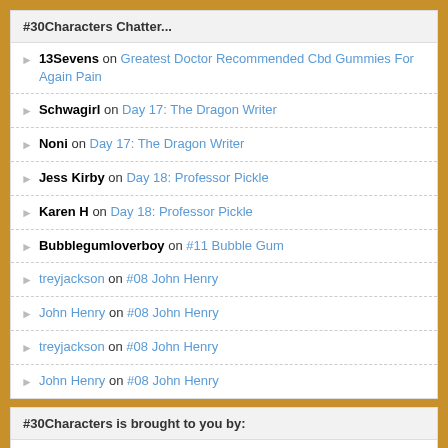#30Characters Chatter...
13Sevens on Greatest Doctor Recommended Cbd Gummies For Again Pain
Schwagirl on Day 17: The Dragon Writer
Noni on Day 17: The Dragon Writer
Jess Kirby on Day 18: Professor Pickle
Karen H on Day 18: Professor Pickle
Bubblegumloverboy on #11 Bubble Gum
treyjackson on #08 John Henry
John Henry on #08 John Henry
treyjackson on #08 John Henry
John Henry on #08 John Henry
#30Characters is brought to you by:
[Figure (illustration): Quill pen illustration at the bottom of the page]